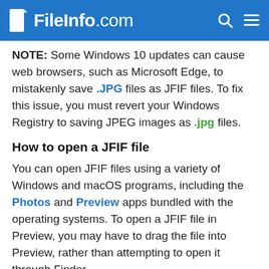FileInfo.com
NOTE: Some Windows 10 updates can cause web browsers, such as Microsoft Edge, to mistakenly save .JPG files as JFIF files. To fix this issue, you must revert your Windows Registry to saving JPEG images as .jpg files.
How to open a JFIF file
You can open JFIF files using a variety of Windows and macOS programs, including the Photos and Preview apps bundled with the operating systems. To open a JFIF file in Preview, you may have to drag the file into Preview, rather than attempting to open it through Finder.
You can also open a JFIF file in your web browser by dragging the file into your browser window.